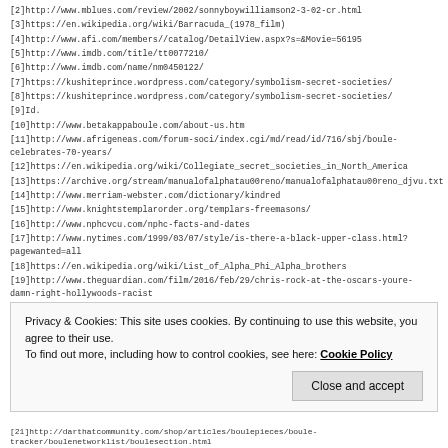[2]http://www.mblues.com/review/2002/sonnyboywilliamson2-3-02-cr.html
[3]https://en.wikipedia.org/wiki/Barracuda_(1978_film)
[4]http://www.afi.com/members//catalog/DetailView.aspx?s=&Movie=56195
[5]http://www.imdb.com/title/tt0077210/
[6]http://www.imdb.com/name/nm0450122/
[7]https://kushiteprince.wordpress.com/category/symbolism-secret-societies/
[8]https://kushiteprince.wordpress.com/category/symbolism-secret-societies/
[9]Id.
[10]http://www.betakappaboule.com/about-us.htm
[11]http://www.afrigeneas.com/forum-soci/index.cgi/md/read/id/716/sbj/boule-celebrates-70-years/
[12]https://en.wikipedia.org/wiki/Collegiate_secret_societies_in_North_America
[13]https://archive.org/stream/manualofalphatau00reno/manualofalphatau00reno_djvu.txt
[14]http://www.merriam-webster.com/dictionary/kindred
[15]http://www.knightstemplarorder.org/templars-freemasons/
[16]http://www.nphcvcu.com/nphc-facts-and-dates
[17]http://www.nytimes.com/1999/03/07/style/is-there-a-black-upper-class.html?pagewanted=all
[18]https://en.wikipedia.org/wiki/List_of_Alpha_Phi_Alpha_brothers
[19]http://www.theguardian.com/film/2016/feb/29/chris-rock-at-the-oscars-youre-damn-right-hollywoods-racist
[20]http://www.theatlantic.com/politics/archive/2015/04/loretta-lynch-and-the-political-power-of-the-black-sorority/391385/
Privacy & Cookies: This site uses cookies. By continuing to use this website, you agree to their use.
To find out more, including how to control cookies, see here: Cookie Policy
[21]http://darthatcommunity.com/shop/articles/boulepieces/boule-tracker/boulenetworklist/boulesection.html